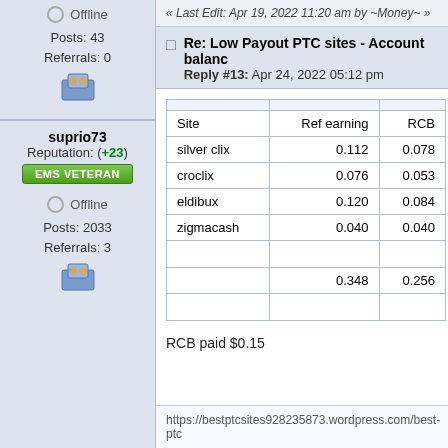Offline
Posts: 43
Referrals: 0
suprio73
Reputation: (+23)
EMS VETERAN
Offline
Posts: 2033
Referrals: 3
« Last Edit: Apr 19, 2022 11:20 am by ~Money~ »
Re: Low Payout PTC sites - Account balanc…
Reply #13: Apr 24, 2022 05:12 pm
| Site | Ref earning | RCB |
| --- | --- | --- |
| silver clix | 0.112 | 0.078 |
| croclix | 0.076 | 0.053 |
| eldibux | 0.120 | 0.084 |
| zigmacash | 0.040 | 0.040 |
|  |  |  |
|  | 0.348 | 0.256 |
|  |  |  |
RCB paid $0.15
https://bestptcsites928235873.wordpress.com/best-ptc…